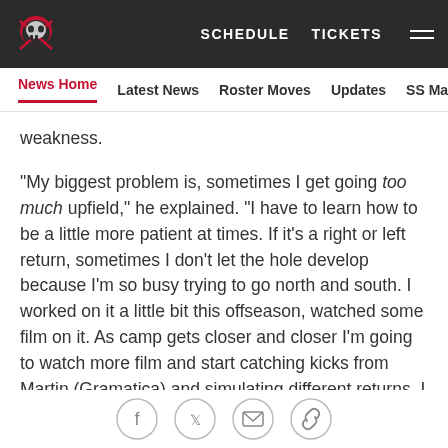SCHEDULE  TICKETS
News Home  Latest News  Roster Moves  Updates  SS Mailbag
weakness.
"My biggest problem is, sometimes I get going too much upfield," he explained. "I have to learn how to be a little more patient at times. If it's a right or left return, sometimes I don't let the hole develop because I'm so busy trying to go north and south. I worked on it a little bit this offseason, watched some film on it. As camp gets closer and closer I'm going to watch more film and start catching kicks from Martin (Gramatica) and simulating different returns. I would say my biggest 'minus' in returning kicks is being too aggressive
[Figure (other): Social share icons: Facebook, Twitter, Email, Link]